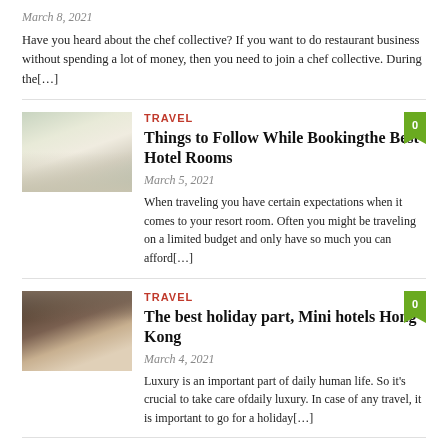March 8, 2021
Have you heard about the chef collective? If you want to do restaurant business without spending a lot of money, then you need to join a chef collective. During the[...]
TRAVEL
Things to Follow While Bookingthe Best Hotel Rooms
March 5, 2021
When traveling you have certain expectations when it comes to your resort room. Often you might be traveling on a limited budget and only have so much you can afford[...]
TRAVEL
The best holiday part, Mini hotels Hong Kong
March 4, 2021
Luxury is an important part of daily human life. So it's crucial to take care ofdaily luxury. In case of any travel, it is important to go for a holiday[...]